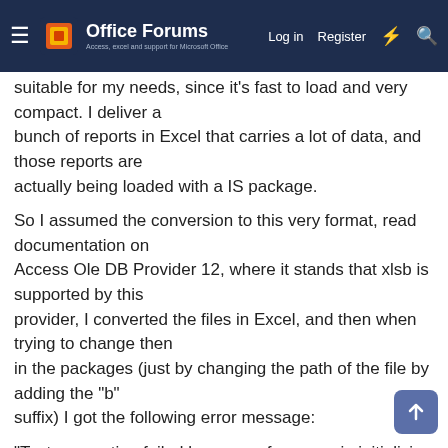Office Forums — Log in | Register
suitable for my needs, since it's fast to load and very compact. I deliver a bunch of reports in Excel that carries a lot of data, and those reports are actually being loaded with a IS package.
So I assumed the conversion to this very format, read documentation on Access Ole DB Provider 12, where it stands that xlsb is supported by this provider, I converted the files in Excel, and then when trying to change then in the packages (just by changing the path of the file by adding the "b" suffix) I got the following error message:
"Test connection failed because of an error in initializing provider. This flo...